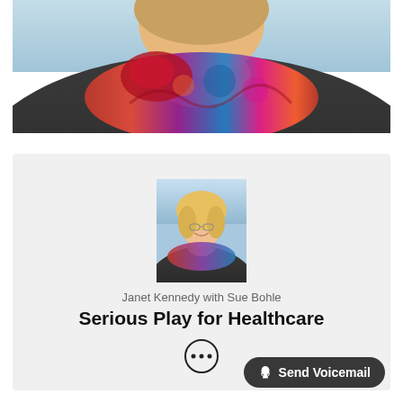[Figure (photo): Close-up of a person wearing a dark sweater and a colorful floral scarf/wrap around their neck, photographed against a light blue sky background.]
[Figure (photo): Thumbnail photo of a smiling blonde woman wearing a dark top with a colorful scarf, shown against a light blue sky.]
Janet Kennedy with Sue Bohle
Serious Play for Healthcare
[Figure (other): Circular more options button with three dots (ellipsis) icon.]
Send Voicemail